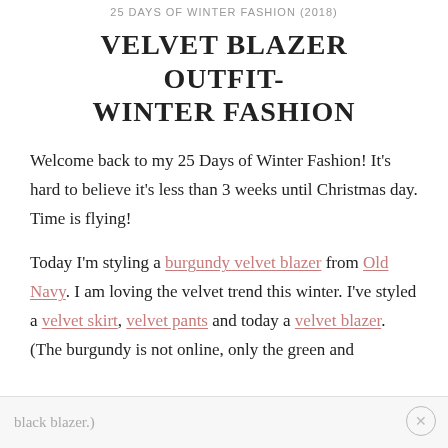25 DAYS OF WINTER FASHION (2018)
VELVET BLAZER OUTFIT- WINTER FASHION
Welcome back to my 25 Days of Winter Fashion! It's hard to believe it's less than 3 weeks until Christmas day. Time is flying!
Today I'm styling a burgundy velvet blazer from Old Navy. I am loving the velvet trend this winter. I've styled a velvet skirt, velvet pants and today a velvet blazer. (The burgundy is not online, only the green and
black blazer.)